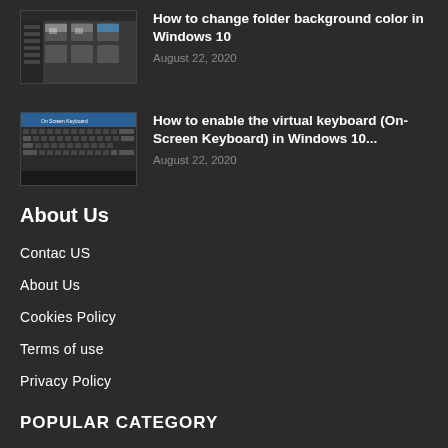[Figure (screenshot): Screenshot of Windows 10 folder/file manager window with dark theme]
How to change folder background color in Windows 10
August 22, 2020
[Figure (screenshot): Screenshot of Windows 10 On-Screen Keyboard virtual keyboard]
How to enable the virtual keyboard (On-Screen Keyboard) in Windows 10...
August 22, 2020
About Us
Contac US
About Us
Cookies Policy
Terms of use
Privacy Policy
POPULAR CATEGORY